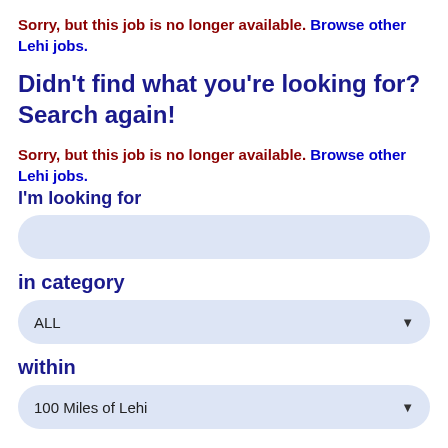Sorry, but this job is no longer available. Browse other Lehi jobs.
Didn't find what you're looking for? Search again!
Sorry, but this job is no longer available. Browse other Lehi jobs.
I'm looking for
in category
ALL
within
100 Miles of Lehi